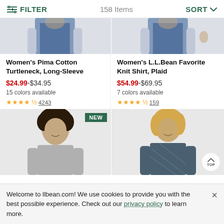FILTER | 158 Items | SORT
[Figure (photo): Cropped photo of a woman wearing dark jeans, left product column top]
[Figure (photo): Cropped photo of a woman wearing dark jeans, right product column top]
Women's Pima Cotton Turtleneck, Long-Sleeve
$24.99-$34.95
15 colors available
★★★★½ 4243
Women's L.L.Bean Favorite Knit Shirt, Plaid
$54.99-$69.95
7 colors available
★★★★½ 159
[Figure (photo): Woman with curly hair wearing a light grey t-shirt, NEW badge in top right corner]
[Figure (photo): Woman with blonde hair wearing a dark patterned knit shirt, with a TOP scroll button]
Welcome to llbean.com! We use cookies to provide you with the best possible experience. Check out our privacy policy to learn more.